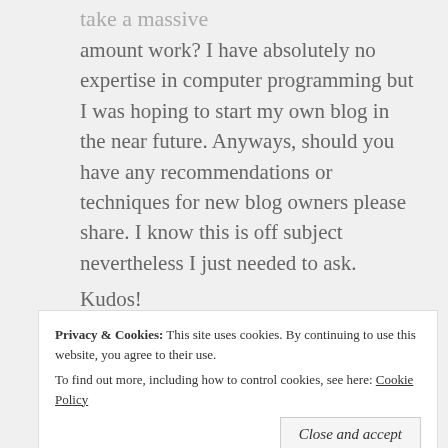take a massive amount work? I have absolutely no expertise in computer programming but I was hoping to start my own blog in the near future. Anyways, should you have any recommendations or techniques for new blog owners please share. I know this is off subject nevertheless I just needed to ask.
Kudos!
★ Like
Reply
Privacy & Cookies: This site uses cookies. By continuing to use this website, you agree to their use.
To find out more, including how to control cookies, see here: Cookie Policy
Close and accept
It's truly very complex in this busy life to listen news on